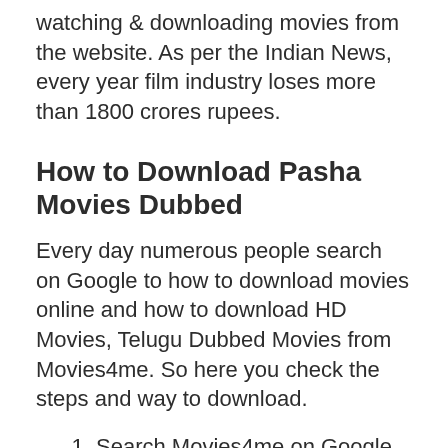watching & downloading movies from the website. As per the Indian News, every year film industry loses more than 1800 crores rupees.
How to Download Pasha Movies Dubbed
Every day numerous people search on Google to how to download movies online and how to download HD Movies, Telugu Dubbed Movies from Movies4me. So here you check the steps and way to download.
Search Movies4me on Google.
Then click on the available link.
After clicking the portal open on